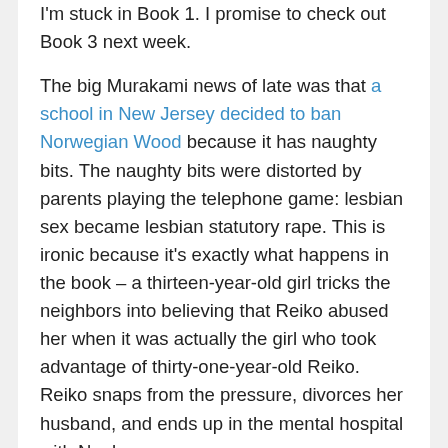I'm stuck in Book 1. I promise to check out Book 3 next week.
The big Murakami news of late was that a school in New Jersey decided to ban Norwegian Wood because it has naughty bits. The naughty bits were distorted by parents playing the telephone game: lesbian sex became lesbian statutory rape. This is ironic because it's exactly what happens in the book – a thirteen-year-old girl tricks the neighbors into believing that Reiko abused her when it was actually the girl who took advantage of thirty-one-year-old Reiko. Reiko snaps from the pressure, divorces her husband, and ends up in the mental hospital with Naoko.
So this week, rather than picking a random section based on the notes I took above the pages, I sought out the naughty bits of 1Q84. The bits I found aren't the naughtiest, I don't think, but they do a nice job of obfuscating other important plot details, so there will be no spoiler. Book 2, page 242: